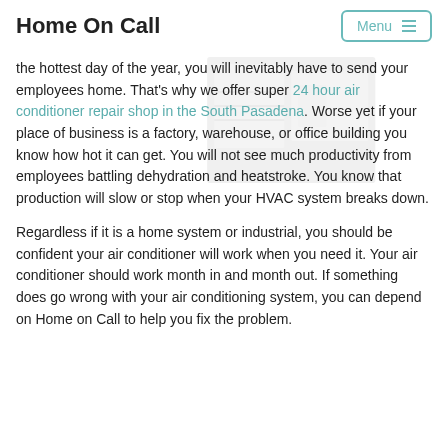Home On Call
the hottest day of the year, you will inevitably have to send your employees home. That's why we offer super 24 hour air conditioner repair shop in the South Pasadena. Worse yet if your place of business is a factory, warehouse, or office building you know how hot it can get. You will not see much productivity from employees battling dehydration and heatstroke. You know that production will slow or stop when your HVAC system breaks down.
Regardless if it is a home system or industrial, you should be confident your air conditioner will work when you need it. Your air conditioner should work month in and month out. If something does go wrong with your air conditioning system, you can depend on Home on Call to help you fix the problem.